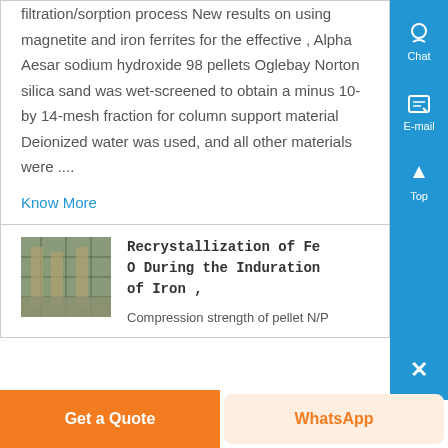filtration/sorption process New results on using magnetite and iron ferrites for the effective , Alpha Aesar sodium hydroxide 98 pellets Oglebay Norton silica sand was wet-screened to obtain a minus 10- by 14-mesh fraction for column support material Deionized water was used, and all other materials were ....
Know More
[Figure (photo): Industrial facility interior photo showing structural framework]
Recrystallization of Fe O During the Induration of Iron ,
Compression strength of pellet N/P